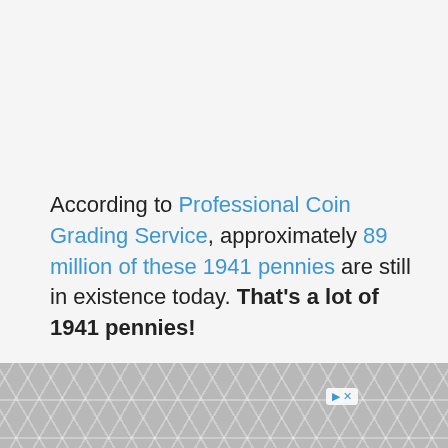According to Professional Coin Grading Service, approximately 89 million of these 1941 pennies are still in existence today. That's a lot of 1941 pennies!
So where did they all go? Why are they so hard to find?